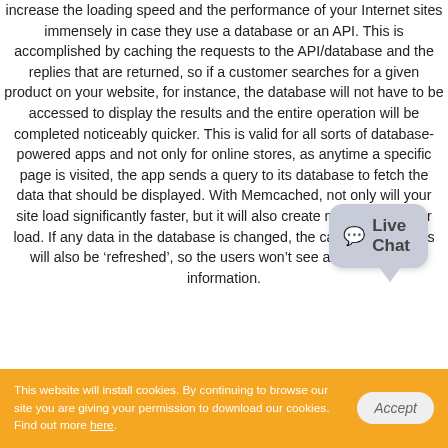increase the loading speed and the performance of your Internet sites immensely in case they use a database or an API. This is accomplished by caching the requests to the API/database and the replies that are returned, so if a customer searches for a given product on your website, for instance, the database will not have to be accessed to display the results and the entire operation will be completed noticeably quicker. This is valid for all sorts of database-powered apps and not only for online stores, as anytime a specific page is visited, the app sends a query to its database to fetch the data that should be displayed. With Memcached, not only will your site load significantly faster, but it will also create much less server load. If any data in the database is changed, the cached responses will also be ‘refreshed’, so the users won’t see any out-of-date information.
[Figure (other): Live Chat speech bubble widget in grey]
This website will install cookies. By continuing to browse our site you are giving your permission to download our cookies. Find out more here.